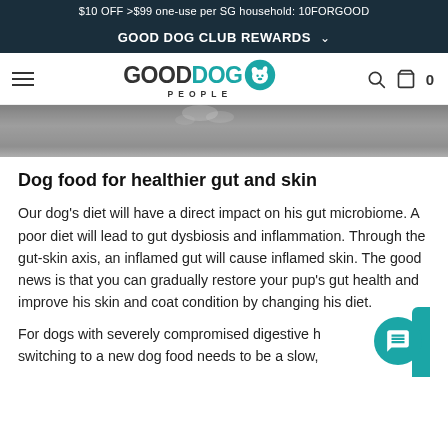$10 OFF >$99 one-use per SG household: 10FORGOOD
GOOD DOG CLUB REWARDS
[Figure (logo): Good Dog People logo with teal dog icon]
[Figure (photo): Close-up photo of a dog's paws/fur on ground, grayscale/textured surface]
Dog food for healthier gut and skin
Our dog's diet will have a direct impact on his gut microbiome. A poor diet will lead to gut dysbiosis and inflammation. Through the gut-skin axis, an inflamed gut will cause inflamed skin. The good news is that you can gradually restore your pup's gut health and improve his skin and coat condition by changing his diet.
For dogs with severely compromised digestive health, switching to a new dog food needs to be a slow,